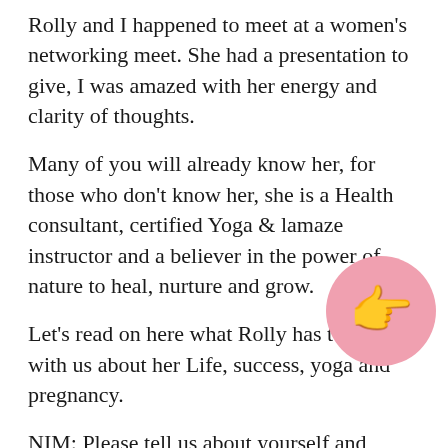Rolly and I happened to meet at a women's networking meet. She had a presentation to give, I was amazed with her energy and clarity of thoughts.
Many of you will already know her, for those who don't know her, she is a Health consultant, certified Yoga & lamaze instructor and a believer in the power of nature to heal, nurture and grow.
Let's read on here what Rolly has to share with us about her Life, success, yoga and pregnancy.
NIM: Please tell us about yourself and